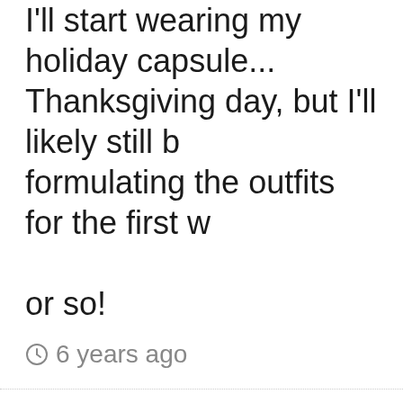I'll start wearing my holiday capsule... Thanksgiving day, but I'll likely still be formulating the outfits for the first w... or so!
6 years ago
Maneera | Veteran
I'm in! Even though I have no partie... go to, I am feeling festive now that... home project is over (I also didn't...